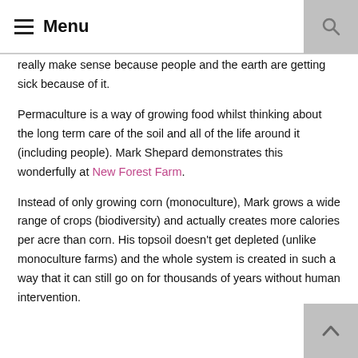Menu
really make sense because people and the earth are getting sick because of it.
Permaculture is a way of growing food whilst thinking about the long term care of the soil and all of the life around it (including people). Mark Shepard demonstrates this wonderfully at New Forest Farm.
Instead of only growing corn (monoculture), Mark grows a wide range of crops (biodiversity) and actually creates more calories per acre than corn. His topsoil doesn't get depleted (unlike monoculture farms) and the whole system is created in such a way that it can still go on for thousands of years without human intervention.